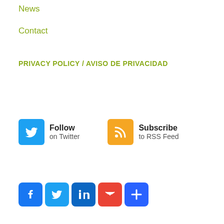News
Contact
PRIVACY POLICY / AVISO DE PRIVACIDAD
[Figure (infographic): Twitter Follow button with blue bird icon and text 'Follow on Twitter', and RSS Subscribe button with orange RSS icon and text 'Subscribe to RSS Feed']
[Figure (infographic): Row of social sharing icons: Facebook (blue), Twitter (light blue), LinkedIn (dark blue), Gmail (red with M), and More/Share (blue with +)]